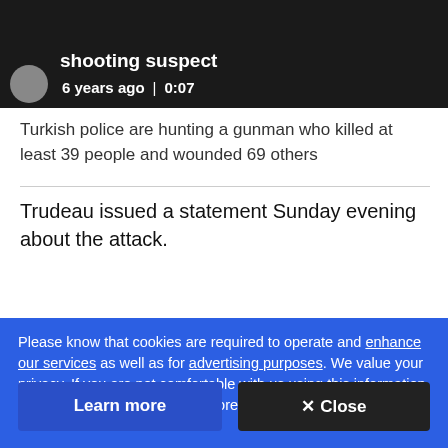[Figure (screenshot): Dark video thumbnail with white text showing 'shooting suspect' title, avatar circle, '6 years ago | 0:07' metadata]
Turkish police are hunting a gunman who killed at least 39 people and wounded 69 others
Trudeau issued a statement Sunday evening about the attack.
Please know that cookies are required to operate and enhance our services as well as for advertising purposes. We value your privacy. If you are not comfortable with us using this information, please review your settings before continuing your visit.
Learn more
✕ Close